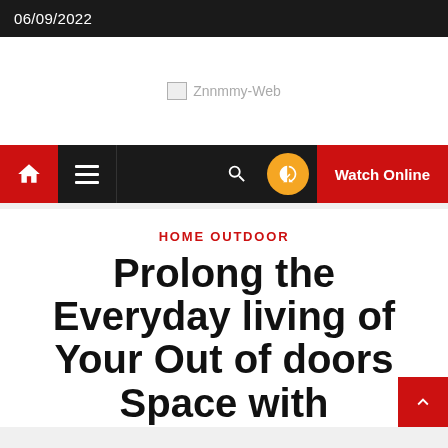06/09/2022
[Figure (logo): Znnmmy-Web website logo placeholder image]
[Figure (screenshot): Navigation bar with home icon, hamburger menu, search icon, orange circle icon, and Watch Online red button]
HOME OUTDOOR
Prolong the Everyday living of Your Out of doors Space with